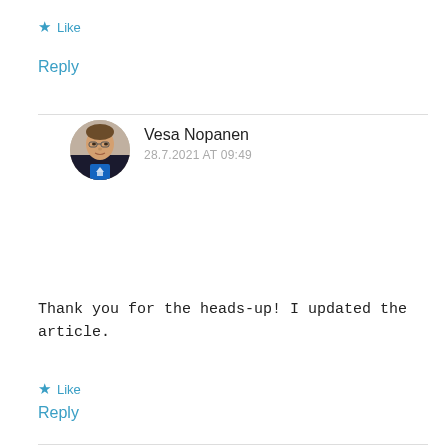★ Like
Reply
Vesa Nopanen
28.7.2021 AT 09:49
Thank you for the heads-up! I updated the article.
★ Like
Reply
Anders N